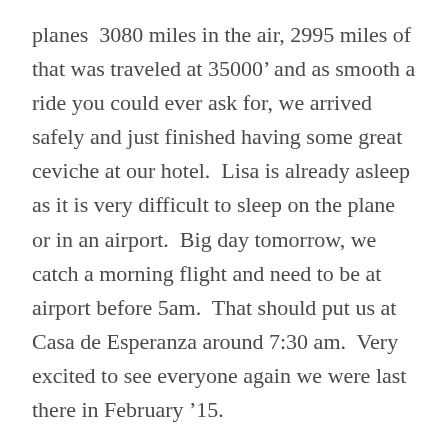planes  3080 miles in the air, 2995 miles of that was traveled at 35000’ and as smooth a ride you could ever ask for, we arrived safely and just finished having some great ceviche at our hotel.  Lisa is already asleep as it is very difficult to sleep on the plane or in an airport.  Big day tomorrow, we catch a morning flight and need to be at airport before 5am.  That should put us at Casa de Esperanza around 7:30 am.  Very excited to see everyone again we were last there in February ’15.
i have one more thing to share.